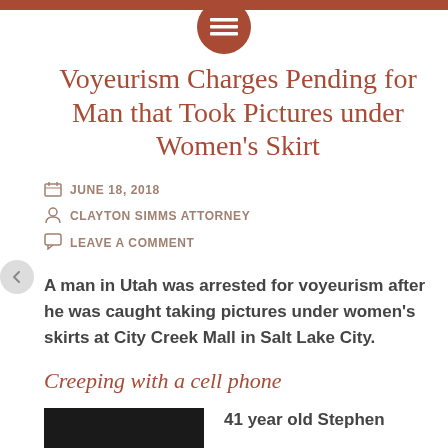Voyeurism Charges Pending for Man that Took Pictures under Women’s Skirt
JUNE 18, 2018
CLAYTON SIMMS ATTORNEY
LEAVE A COMMENT
A man in Utah was arrested for voyeurism after he was caught taking pictures under women’s skirts at City Creek Mall in Salt Lake City.
Creeping with a cell phone
41 year old Stephen